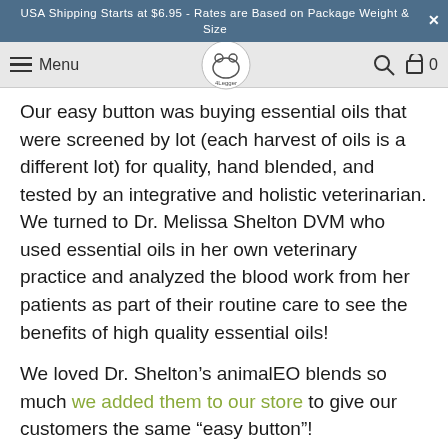USA Shipping Starts at $6.95 - Rates are Based on Package Weight & Size
Menu | 4Legger logo | Search | Cart 0
Our easy button was buying essential oils that were screened by lot (each harvest of oils is a different lot) for quality, hand blended, and tested by an integrative and holistic veterinarian.  We turned to Dr. Melissa Shelton DVM who used essential oils in her own veterinary practice and analyzed the blood work from her patients as part of their routine care to see the benefits of high quality essential oils!
We loved Dr. Shelton’s animalEO blends so much we added them to our store to give our customers the same "easy button"!
Two of the essential oils we diffuse regularly to add beneficial oils into our pets (and us) while making the room sell amazingly good are Sunshine in a Bottle™ and